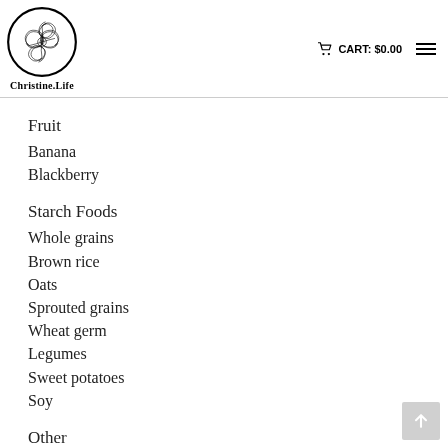Christine.Life  CART: $0.00
[Figure (logo): Circular logo with spiral fractal design, labeled Christine.Life]
Fruit
Banana
Blackberry
Starch Foods
Whole grains
Brown rice
Oats
Sprouted grains
Wheat germ
Legumes
Sweet potatoes
Soy
Other
Wheat germ oil